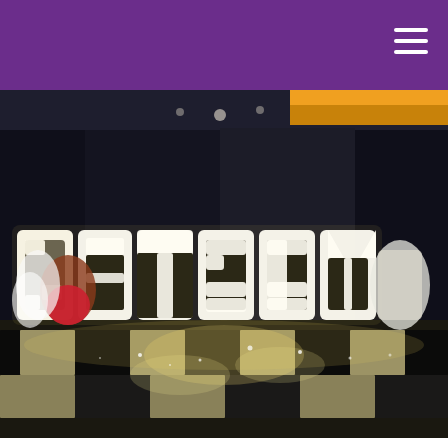[Figure (logo): Steven Honeyball DJ Entertainment Services logo in white text on purple background, with grape/balloon cluster decoration]
[Figure (photo): Event photo showing large illuminated 'GATSBY' letters on a black and white dance floor, with two women in costume on either side, dark curtain backdrop with warm yellow lighting in top corner]